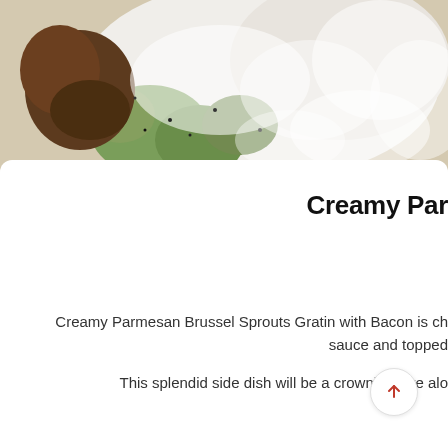[Figure (photo): Close-up food photo showing creamy gratin dish with Brussels sprouts, bacon, and white cream sauce, viewed from above]
Creamy Par
Creamy Parmesan Brussel Sprouts Gratin with Bacon is ch sauce and topped
This splendid side dish will be a crowning fare alo